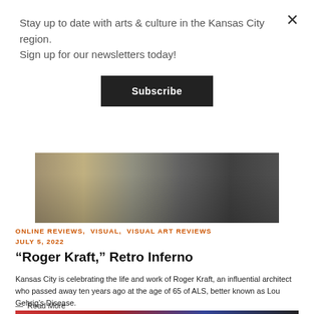Stay up to date with arts & culture in the Kansas City region. Sign up for our newsletters today!
Subscribe
[Figure (photo): Photo showing a rocking chair and a geometric table in an interior space]
ONLINE REVIEWS, VISUAL, VISUAL ART REVIEWS JULY 5, 2022
“Roger Kraft,” Retro Inferno
Kansas City is celebrating the life and work of Roger Kraft, an influential architect who passed away ten years ago at the age of 65 of ALS, better known as Lou Gehrig’s Disease.
—  Read More
[Figure (photo): Partial view of another article photo at the bottom]